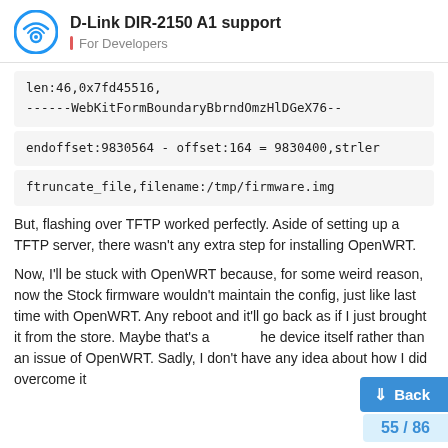D-Link DIR-2150 A1 support — For Developers
len:46,0x7fd45516,
------WebKitFormBoundaryBbrndOmzHlDGeX76--
endoffset:9830564 - offset:164 = 9830400,strler
ftruncate_file,filename:/tmp/firmware.img
But, flashing over TFTP worked perfectly. Aside of setting up a TFTP server, there wasn't any extra step for installing OpenWRT.
Now, I'll be stuck with OpenWRT because, for some weird reason, now the Stock firmware wouldn't maintain the config, just like last time with OpenWRT. Any reboot and it'll go back as if I just brought it from the store. Maybe that's a the device itself rather than an issue of OpenWRT. Sadly, I don't have any idea about how I did overcome it